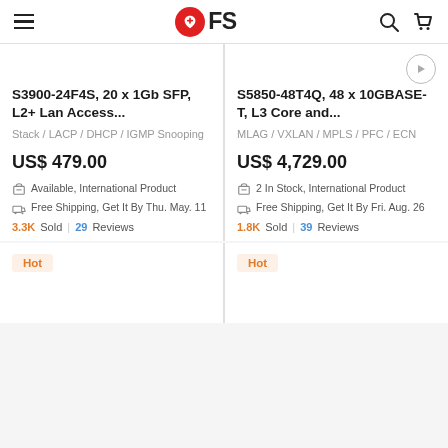FS (logo) — navigation header with hamburger menu, search and cart icons
S3900-24F4S, 20 x 1Gb SFP, L2+ Lan Access...
Stack / LACP / DHCP / IGMP Snooping
US$ 479.00
Available, International Product
Free Shipping, Get It By Thu. May. 11
3.3K Sold  |  29 Reviews
S5850-48T4Q, 48 x 10GBASE-T, L3 Core and...
MLAG / VXLAN / MPLS / PFC / ECN
US$ 4,729.00
2 In Stock, International Product
Free Shipping, Get It By Fri. Aug. 26
1.8K Sold  |  39 Reviews
Hot
Hot